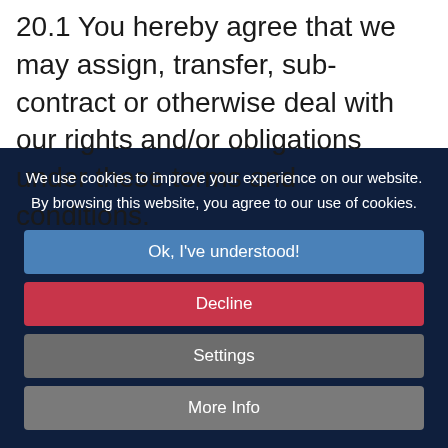20.1 You hereby agree that we may assign, transfer, sub-contract or otherwise deal with our rights and/or obligations under these terms and conditions.
We use cookies to improve your experience on our website. By browsing this website, you agree to our use of cookies.
Ok, I've understood!
Decline
Settings
More Info